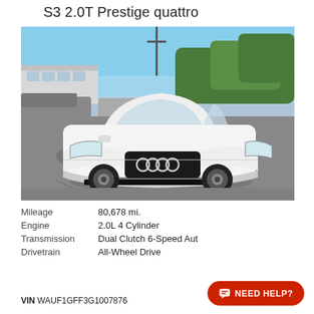S3 2.0T Prestige quattro
[Figure (photo): White Audi S3 2.0T Prestige quattro sedan photographed front-facing in a dealership parking lot on a sunny day, surrounded by trees and other vehicles in the background.]
| Mileage | 80,678 mi. |
| Engine | 2.0L 4 Cylinder |
| Transmission | Dual Clutch 6-Speed Automatic |
| Drivetrain | All-Wheel Drive |
VIN WAUF1GFF3G1007876